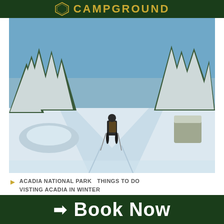CAMPGROUND
[Figure (photo): A person with a backpack and ski poles standing on a snow-covered trail surrounded by snow-laden evergreen trees on a sunny winter day at Acadia National Park.]
ACADIA NATIONAL PARK   THINGS TO DO   VISTING ACADIA IN WINTER
Visiting Acadia National
➨ Book Now